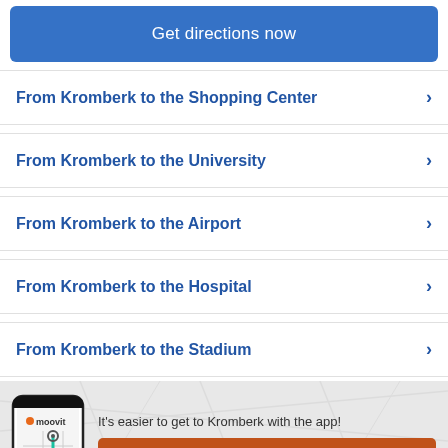Get directions now
From Kromberk to the Shopping Center
From Kromberk to the University
From Kromberk to the Airport
From Kromberk to the Hospital
From Kromberk to the Stadium
It's easier to get to Kromberk with the app!
Get the App